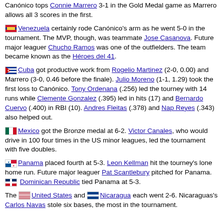Canónico tops Connie Marrero 3-1 in the Gold Medal game as Marrero allows all 3 scores in the first.
Venezuela certainly rode Canónico's arm as he went 5-0 in the tournament. The MVP, though, was teammate Jose Casanova. Future major leaguer Chucho Ramos was one of the outfielders. The team became known as the Héroes del 41.
Cuba got productive work from Rogelio Martinez (2-0, 0.00) and Marrero (3-0, 0.46 before the finale). Julio Moreno (1-1, 1.29) took the first loss to Canónico. Tony Ordenana (.256) led the tourney with 14 runs while Clemente Gonzalez (.395) led in hits (17) and Bernardo Cuervo (.400) in RBI (10). Andres Fleitas (.378) and Nap Reyes (.343) also helped out.
Mexico got the Bronze medal at 6-2. Victor Canales, who would drive in 100 four times in the US minor leagues, led the tournament with five doubles.
Panama placed fourth at 5-3. Leon Kellman hit the tourney's lone home run. Future major leaguer Pat Scantlebury pitched for Panama. Dominican Republic tied Panama at 5-3.
The United States and Nicaragua each went 2-6. Nicaraguas's Carlos Navas stole six bases, the most in the tournament.